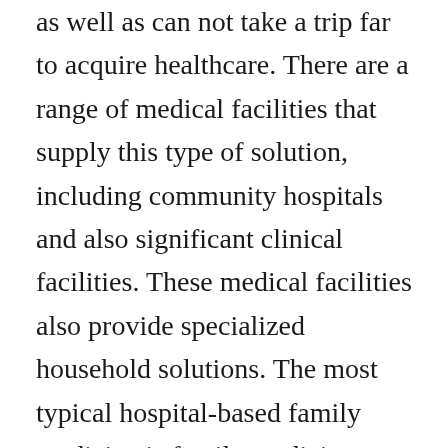as well as can not take a trip far to acquire healthcare. There are a range of medical facilities that supply this type of solution, including community hospitals and also significant clinical facilities. These medical facilities also provide specialized household solutions. The most typical hospital-based family medicine is family medicine doctors, that focus on treating a restricted variety of illness or conditions. Outpatient facilities lie in various areas, including doctor's offices and hospitals. These practices give private look after a wide range of problems. Many individuals seek the solutions of an outpatient center since they can receive routine treatment without having to see a